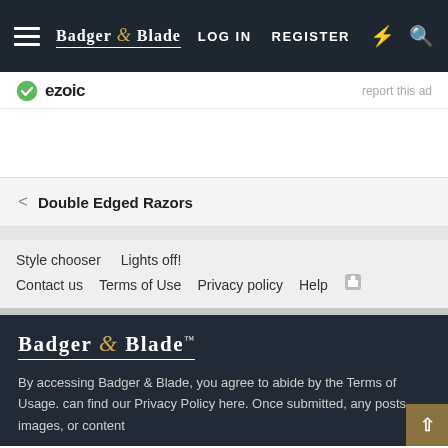BADGER & BLADE — LOG IN   REGISTER
[Figure (logo): Ezoic logo with green circle checkmark icon and 'ezoic' text, with 'report this ad' link on right]
< Double Edged Razors
Style chooser   Lights off!
Contact us   Terms of Use   Privacy policy   Help
[Figure (logo): Badger & Blade logo in white serif font with gold ampersand, underlined, on dark background]
By accessing Badger & Blade, you agree to abide by the Terms of Usage. can find our Privacy Policy here. Once submitted, any posts, images, or content